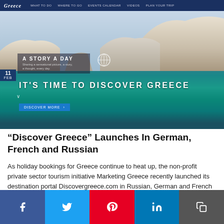[Figure (screenshot): Screenshot of Discover Greece website homepage showing hero image of Milos island with turquoise waters, white limestone rocks, navigation bar, headline 'IT'S TIME TO DISCOVER GREECE', date badge '11 FEB', story feature 'A STORY A DAY', and a CTA button.]
“Discover Greece” Launches In German, French and Russian
As holiday bookings for Greece continue to heat up, the non-profit private sector tourism initiative Marketing Greece recently launched its destination portal Discovergreece.com in Russian, German and French.
[Figure (infographic): Social media share bar at bottom with Facebook (dark blue), Twitter (light blue), Pinterest (red), LinkedIn (blue), and Copy/Share (grey) buttons with their respective icons.]